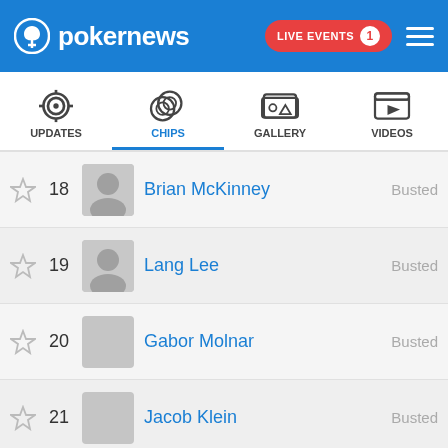pokernews — LIVE EVENTS 1
| Favorite | Rank | Avatar | Name | Status |
| --- | --- | --- | --- | --- |
| ☆ | 18 |  | Brian McKinney | Busted |
| ☆ | 19 |  | Lang Lee | Busted |
| ☆ | 20 |  | Gabor Molnar | Busted |
| ☆ | 21 |  | Jacob Klein | Busted |
| ☆ | 22 |  | Luciano Villani | Busted |